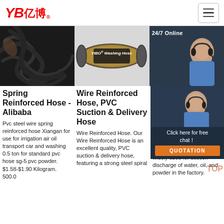YB亿博® logo and navigation hamburger menu
[Figure (photo): Left: black spring hose wire bundle close-up; Center: YIBO Washing Hose product image on grey background; Right: 24/7 Online customer service representative with headset, dark background]
Spring Reinforced Hose - Alibaba
Pvc steel wire spring reinforced hose Xiangan for use for irrigation air oil transport car and washing 0.5 ton for standard pvc hose sg-5 pvc powder. $1.58-$1.90 Kilogram. 500.0
Wire Reinforced Hose, PVC Suction & Delivery Hose
Wire Reinforced Hose. Our Wire Reinforced Hose is an excellent quality, PVC suction & delivery hose, featuring a strong steel spiral
PV... Ho... Wi... Re... PV...
2021·u16u2002·u2002PVC steel wire reinforced hose is widely used for suction discharge of water, oil, and powder in the factory.
[Figure (screenshot): Chat popup overlay: woman with headset, 24/7 Online text, 'Click here for free chat!' text, and orange QUOTATION button]